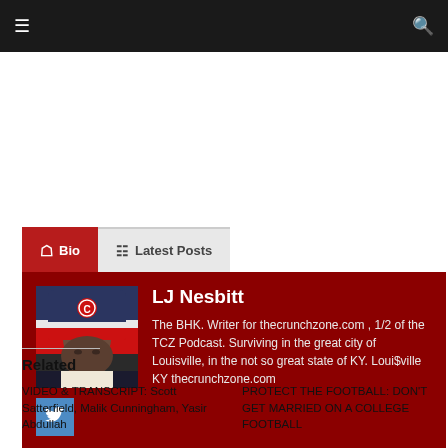☰  🔍
Bio | Latest Posts
[Figure (photo): Profile photo of LJ Nesbitt wearing a red and white hat with a Cardinal logo]
LJ Nesbitt
The BHK. Writer for thecrunchzone.com , 1/2 of the TCZ Podcast. Surviving in the great city of Louisville, in the not so great state of KY. Loui$ville KY thecrunchzone.com
Related
VIDEO & TRANSCRIPT: Scott Satterfield, Malik Cunningham, Yasir Abdullah
PROTECT THE FOOTBALL: DON'T GET MARRIED ON A COLLEGE FOOTBALL